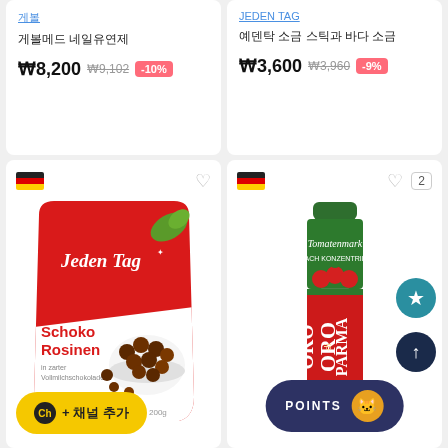게볼 (brand link)
게볼메드 네일유연제
₩8,200  ₩9,102  -10%
JEDEN TAG (brand link)
예덴탁 소금 스틱과 바다 소금
₩3,600  ₩3,960  -9%
[Figure (photo): Jeden Tag Schoko Rosinen (chocolate raisins) 200g bag product photo]
[Figure (photo): Oro di Parma Tomatenmark (tomato paste) tube product photo]